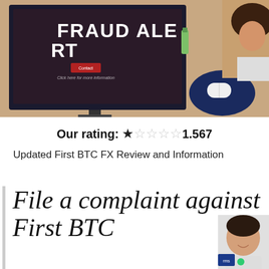[Figure (photo): A monitor displaying a red 'FRAUD ALERT' screen with a button and subtitle text, next to a desk with a computer mouse on a dark blue mouse pad and office items in the background.]
Our rating: ★★☆☆☆ 1.567
Updated First BTC FX Review and Information
File a complaint against First BTC FX below...